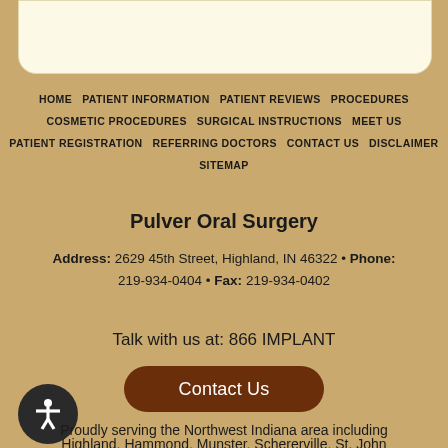HOME  PATIENT INFORMATION  PATIENT REVIEWS  PROCEDURES  COSMETIC PROCEDURES  SURGICAL INSTRUCTIONS  MEET US  PATIENT REGISTRATION  REFERRING DOCTORS  CONTACT US  DISCLAIMER  SITEMAP
Pulver Oral Surgery
Address: 2629 45th Street, Highland, IN 46322 • Phone: 219-934-0404 • Fax: 219-934-0402
Talk with us at: 866 IMPLANT
Contact Us
Proudly serving the Northwest Indiana area including Highland, Hammond, Munster, Schererville, St. John